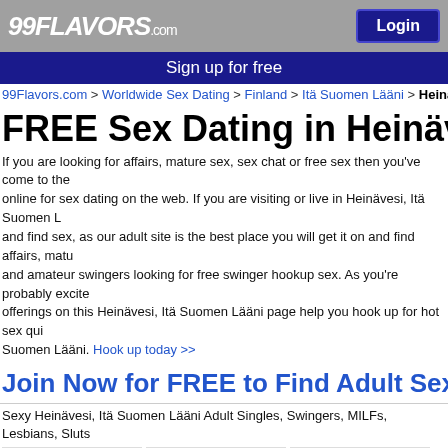99FLAVORS.com | Login
Sign up for free
99Flavors.com > Worldwide Sex Dating > Finland > Itä Suomen Lääni > Heinä...
FREE Sex Dating in Heinävesi,
If you are looking for affairs, mature sex, sex chat or free sex then you've come to the... online for sex dating on the web. If you are visiting or live in Heinävesi, Itä Suomen L... and find sex, as our adult site is the best place you will get it on and find affairs, matu... and amateur swingers looking for free swinger hookup sex. As you're probably excite... offerings on this Heinävesi, Itä Suomen Lääni page help you hook up for hot sex qui... Suomen Lääni. Hook up today >>
Join Now for FREE to Find Adult Sex Near He...
Sexy Heinävesi, Itä Suomen Lääni Adult Singles, Swingers, MILFs, Lesbians, Sluts
[Figure (photo): Profile photo of saris64, female user]
[Figure (photo): Profile photo of MaryD554, female user]
[Figure (photo): Profile photo of rm_SAloveNu, female user]